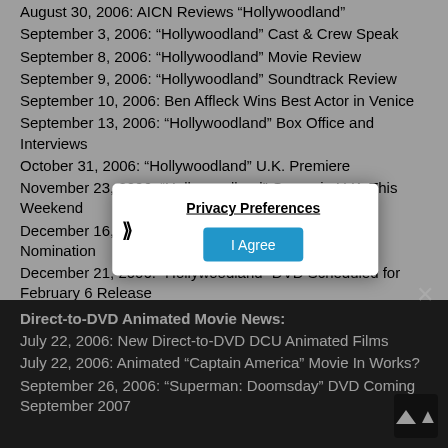August 30, 2006: AICN Reviews “Hollywoodland”
September 3, 2006: “Hollywoodland” Cast & Crew Speak
September 8, 2006: “Hollywoodland” Movie Review
September 9, 2006: “Hollywoodland” Soundtrack Review
September 10, 2006: Ben Affleck Wins Best Actor in Venice
September 13, 2006: “Hollywoodland” Box Office and Interviews
October 31, 2006: “Hollywoodland” U.K. Premiere
November 23, 2006: “Hollywoodland” Opens in U.K. This Weekend
December 16, 2006: Ben Affleck Gets Golden Globe Nomination
December 21, 2006: “Hollywoodland” DVD Scheduled for February 6 Release
Direct-to-DVD Animated Movie News:
July 22, 2006: New Direct-to-DVD DCU Animated Films
July 22, 2006: Animated “Captain America” Movie In Works?
September 26, 2006: “Superman: Doomsday” DVD Coming September 2007